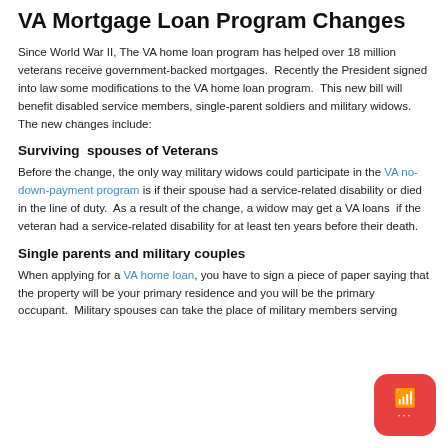VA Mortgage Loan Program Changes
Since World War II, The VA home loan program has helped over 18 million veterans receive government-backed mortgages.  Recently the President signed into law some modifications to the VA home loan program.  This new bill will benefit disabled service members, single-parent soldiers and military widows. The new changes include:
Surviving  spouses of Veterans
Before the change, the only way military widows could participate in the VA no-down-payment program is if their spouse had a service-related disability or died in the line of duty.  As a result of the change, a widow may get a VA loans  if the veteran had a service-related disability for at least ten years before their death.
Single parents and military couples
When applying for a VA home loan, you have to sign a piece of paper saying that the property will be your primary residence and you will be the primary occupant.  Military spouses can take the place of military members serving